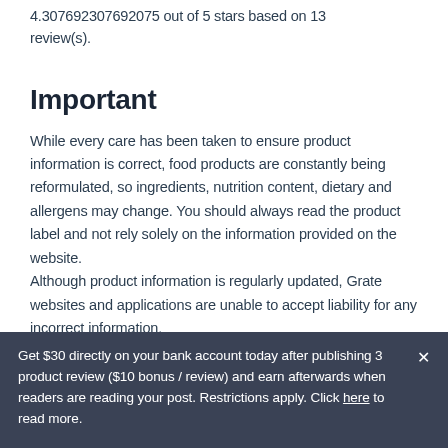4.307692307692075 out of 5 stars based on 13 review(s).
Important
While every care has been taken to ensure product information is correct, food products are constantly being reformulated, so ingredients, nutrition content, dietary and allergens may change. You should always read the product label and not rely solely on the information provided on the website.
Although product information is regularly updated, Grate websites and applications are unable to accept liability for any incorrect information.
This information is supplied for personal use only, and may
Get $30 directly on your bank account today after publishing 3 product review ($10 bonus / review) and earn afterwards when readers are reading your post. Restrictions apply. Click here to read more.